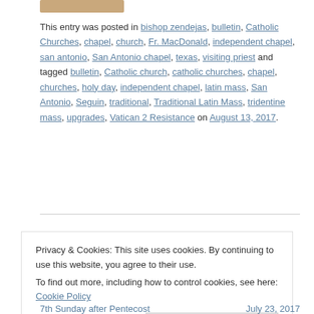[Figure (photo): Partial image at top of page, brownish/tan colored]
This entry was posted in bishop zendejas, bulletin, Catholic Churches, chapel, church, Fr. MacDonald, independent chapel, san antonio, San Antonio chapel, texas, visiting priest and tagged bulletin, Catholic church, catholic churches, chapel, churches, holy day, independent chapel, latin mass, San Antonio, Seguin, traditional, Traditional Latin Mass, tridentine mass, upgrades, Vatican 2 Resistance on August 13, 2017.
Privacy & Cookies: This site uses cookies. By continuing to use this website, you agree to their use. To find out more, including how to control cookies, see here: Cookie Policy
7th Sunday after Pentecost    July 23, 2017